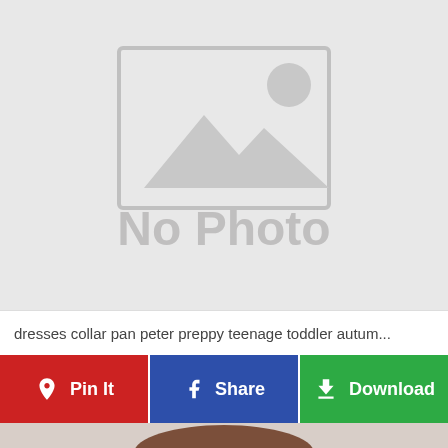[Figure (photo): No Photo placeholder image with mountain/image icon in light gray on gray background]
dresses collar pan peter preppy teenage toddler autum...
Pin It
Share
Download
[Figure (photo): Partial view of a person's head with brown hair at the bottom of the page]